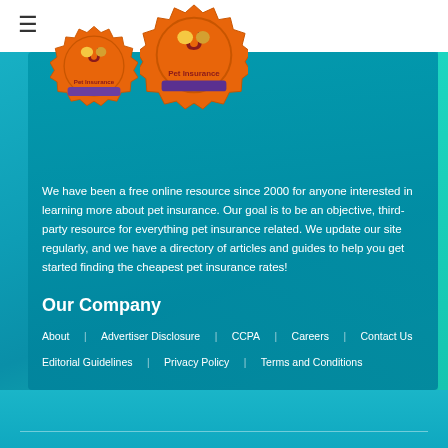[Figure (logo): Two Pet Insurance U badge logos — one smaller on the left, one larger on the right. Orange/red badge style with cartoon dog and cat, text 'Pet Insurance' and 'U' letter.]
We have been a free online resource since 2000 for anyone interested in learning more about pet insurance. Our goal is to be an objective, third-party resource for everything pet insurance related. We update our site regularly, and we have a directory of articles and guides to help you get started finding the cheapest pet insurance rates!
Our Company
About
Advertiser Disclosure
CCPA
Careers
Contact Us
Editorial Guidelines
Privacy Policy
Terms and Conditions